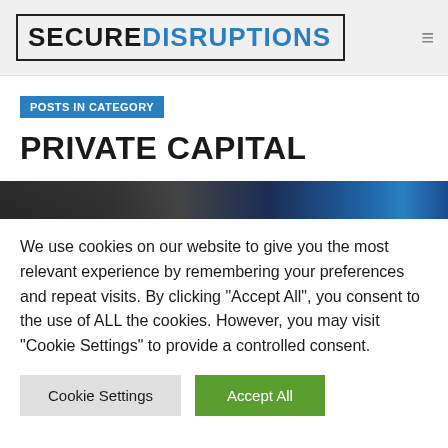SECUREDISRUPTIONS
POSTS IN CATEGORY
PRIVATE CAPITAL
[Figure (photo): Partial view of a building or industrial structure with dark and blue tones, cropped image strip]
We use cookies on our website to give you the most relevant experience by remembering your preferences and repeat visits. By clicking "Accept All", you consent to the use of ALL the cookies. However, you may visit "Cookie Settings" to provide a controlled consent.